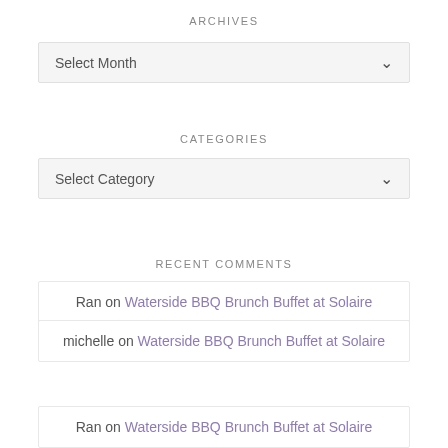ARCHIVES
[Figure (other): Select Month dropdown box with chevron]
CATEGORIES
[Figure (other): Select Category dropdown box with chevron]
RECENT COMMENTS
Ran on Waterside BBQ Brunch Buffet at Solaire
michelle on Waterside BBQ Brunch Buffet at Solaire
Ran on Waterside BBQ Brunch Buffet at Solaire